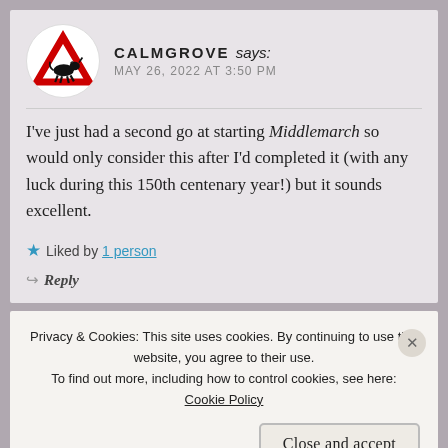CALMGROVE says: MAY 26, 2022 AT 3:50 PM
I've just had a second go at starting Middlemarch so would only consider this after I'd completed it (with any luck during this 150th centenary year!) but it sounds excellent.
★ Liked by 1 person
↩ Reply
Privacy & Cookies: This site uses cookies. By continuing to use this website, you agree to their use. To find out more, including how to control cookies, see here: Cookie Policy
Close and accept